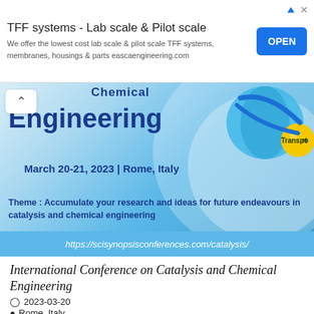[Figure (screenshot): Advertisement banner for TFF systems - Lab scale & Pilot scale by eascaengineering.com with an OPEN button]
[Figure (infographic): Conference banner showing Chemical Engineering title, March 20-21 2023 Rome Italy, molecule graphic, theme text about catalysis and chemical engineering, and URL bar]
International Conference on Catalysis and Chemical Engineering
2023-03-20
Rome, Italy